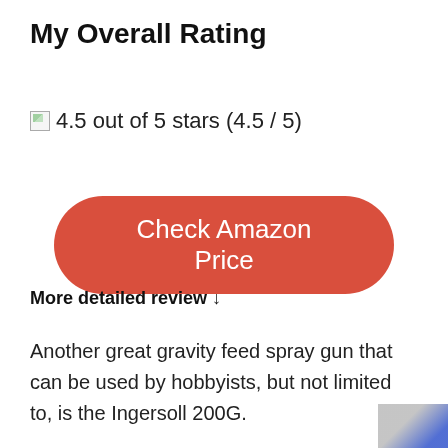My Overall Rating
4.5 out of 5 stars (4.5 / 5)
[Figure (other): Check Amazon Price button (red rounded rectangle with white text)]
More detailed review ↓
Another great gravity feed spray gun that can be used by hobbyists, but not limited to, is the Ingersoll 200G.
[Figure (photo): Partially visible image in bottom right corner, appears to be a reCAPTCHA widget or similar element]